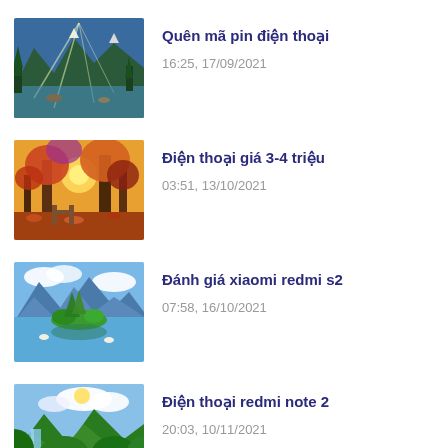[Figure (photo): Mountain lake landscape with sunbeams through pine trees]
Quên mã pin điện thoại
16:25, 17/09/2021
[Figure (photo): Autumn forest path with orange and red foliage and golden light]
Điện thoại giá 3-4 triệu
03:51, 13/10/2021
[Figure (photo): Blue lake with mountain reflection and green island]
Đánh giá xiaomi redmi s2
07:58, 16/10/2021
[Figure (photo): Waterfall and green tropical mountains with blue sky]
Điện thoại redmi note 2
20:03, 10/11/2021